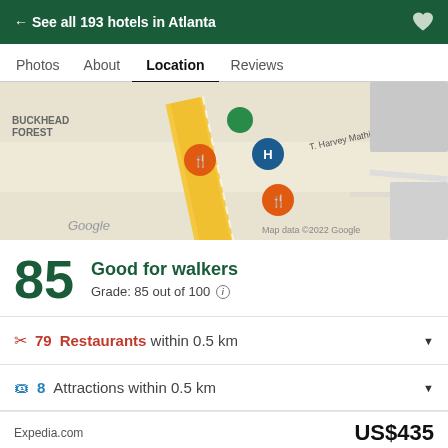← See all 193 hotels in Atlanta
Photos   About   Location   Reviews
[Figure (map): Google Map showing area near T. Harvey Mathis Pkwy with restaurant and hotel markers. Labels: BUCKHEAD FOREST, Google, Map data ©2022 Google]
85   Good for walkers
Grade: 85 out of 100 ℹ
🍴 79 Restaurants within 0.5 km
🎟 8 Attractions within 0.5 km
Expedia.com
US$435
View deal
🏷 Special offer